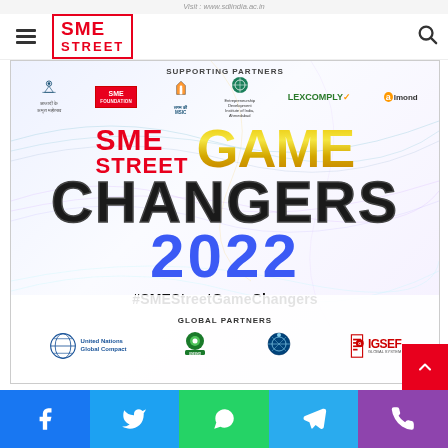Visit : www.sdiindia.ac.in
[Figure (logo): SME Street logo with red text and hamburger menu and search icon]
[Figure (infographic): SME Street Game Changers 2022 promotional banner with supporting partners (SME Foundation, MSIC, Entrepreneurship Development Institute of India Ahmedabad, LexComply, Almond) and global partners (United Nations Global Compact, UNISMO, and GSEF) with hashtag #SMEStreetGameChangers]
[Figure (infographic): Social media share bar with Facebook, Twitter, WhatsApp, Telegram, and Phone icons at bottom]